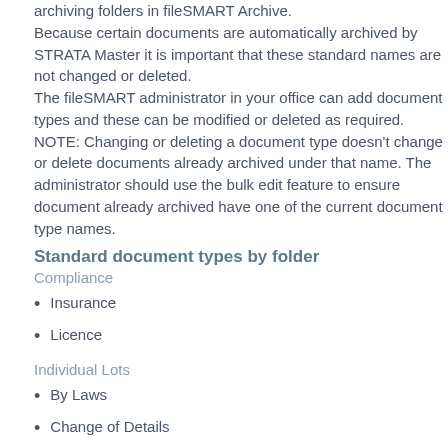archiving folders in fileSMART Archive.
Because certain documents are automatically archived by STRATA Master it is important that these standard names are not changed or deleted.
The fileSMART administrator in your office can add document types and these can be modified or deleted as required.
NOTE: Changing or deleting a document type doesn't change or delete documents already archived under that name. The administrator should use the bulk edit feature to ensure document already archived have one of the current document type names.
Standard document types by folder
Compliance
Insurance
Licence
Individual Lots
By Laws
Change of Details